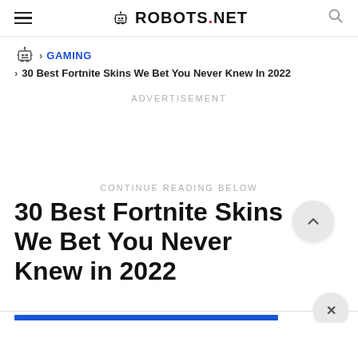ROBOTS.NET
GAMING > 30 Best Fortnite Skins We Bet You Never Knew In 2022
ADVERTISEMENT
CONTINUE READING BELOW
30 Best Fortnite Skins We Bet You Never Knew in 2022